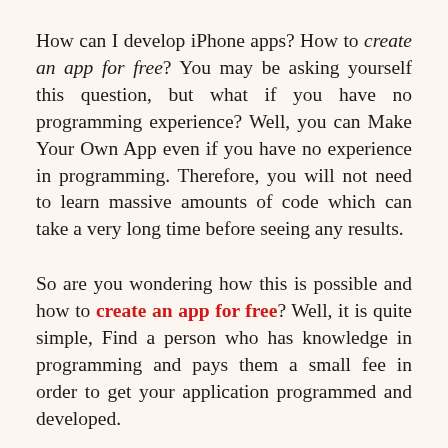How can I develop iPhone apps? How to create an app for free? You may be asking yourself this question, but what if you have no programming experience? Well, you can Make Your Own App even if you have no experience in programming. Therefore, you will not need to learn massive amounts of code which can take a very long time before seeing any results.
So are you wondering how this is possible and how to create an app for free? Well, it is quite simple, Find a person who has knowledge in programming and pays them a small fee in order to get your application programmed and developed.
Create And...